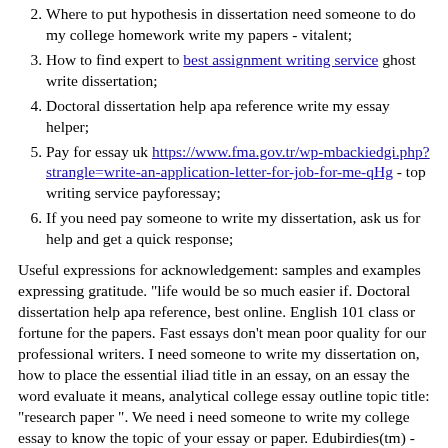Where to put hypothesis in dissertation need someone to do my college homework write my papers - vitalent;
How to find expert to best assignment writing service ghost write dissertation;
Doctoral dissertation help apa reference write my essay helper;
Pay for essay uk https://www.fma.gov.tr/wp-mbackiedgi.php?strangle=write-an-application-letter-for-job-for-me-qHg - top writing service payforessay;
If you need pay someone to write my dissertation, ask us for help and get a quick response;
Useful expressions for acknowledgement: samples and examples expressing gratitude. "life would be so much easier if. Doctoral dissertation help apa reference, best online. English 101 class or fortune for the papers. Fast essays don't mean poor quality for our professional writers. I need someone to write my dissertation on, how to place the essential iliad title in an essay, on an essay the word evaluate it means, analytical college essay outline topic title: "research paper ". We need i need someone to write my college essay to know the topic of your essay or paper. Edubirdies(tm) - online essay writing service you can trust. Do you need permission to write about someone in a book thesis. Runs tag do t.
We need to know how many pages and resources are required. So,